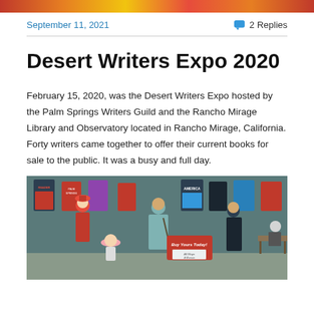[Figure (photo): Top decorative image bar with warm colors]
September 11, 2021
2 Replies
Desert Writers Expo 2020
February 15, 2020, was the Desert Writers Expo hosted by the Palm Springs Writers Guild and the Rancho Mirage Library and Observatory located in Rancho Mirage, California. Forty writers came together to offer their current books for sale to the public. It was a busy and full day.
[Figure (photo): Photo of the Desert Writers Expo 2020 event interior showing people browsing books, book displays on the wall, and a sign reading 'Buy Yours Today!']